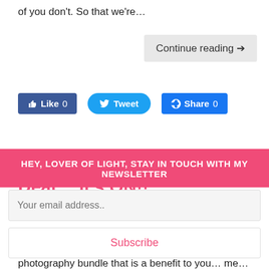of you don't. So that we're...
Continue reading →
[Figure (screenshot): Social sharing buttons: Like 0 (Facebook blue), Tweet (Twitter blue), Share 0 (Facebook blue)]
5 Day Photography Bundle Deal… It's ON!!
I don't often do retail stuff over here… but as I've mentioned, I'm part of a REALLY COOL photography bundle that is a benefit to you… me… and some really
HEY, LOVER OF LIGHT, STAY IN TOUCH WITH MY NEWSLETTER
Your email address..
Subscribe